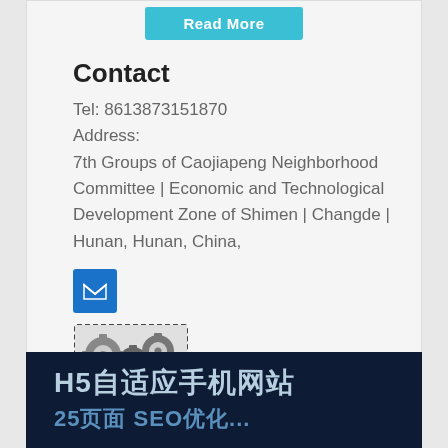[Figure (other): Teal 'Read More' button at top of card]
Contact
Tel: 8613873151870
Address:
7th Groups of Caojiapeng Neighborhood Committee | Economic and Technological Development Zone of Shimen | Changde | Hunan, Hunan, China,
[Figure (other): Blue square email button with envelope icon]
[Figure (logo): FREE MEMBER badge with gears graphic and dashed border]
[Figure (other): Dark navy card at bottom with text H5自适应手机网站 and partial second line 25页面 SEO优化...]